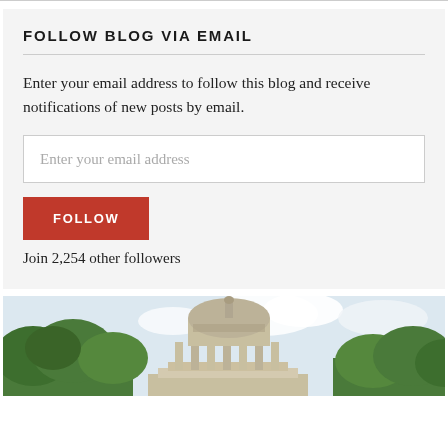FOLLOW BLOG VIA EMAIL
Enter your email address to follow this blog and receive notifications of new posts by email.
Enter your email address
FOLLOW
Join 2,254 other followers
[Figure (photo): Photograph of a domed building (appears to be MIT's dome) surrounded by trees, viewed from below against a light sky.]